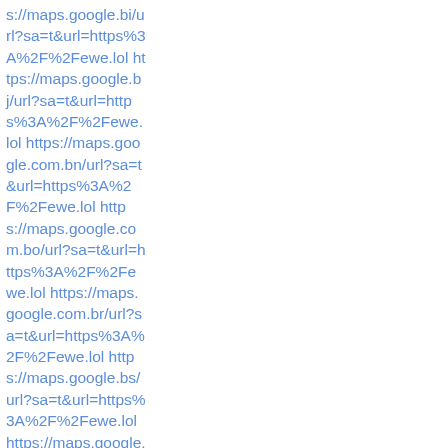s://maps.google.bi/url?sa=t&url=https%3A%2F%2Fewe.lol https://maps.google.bj/url?sa=t&url=https%3A%2F%2Fewe.lol https://maps.google.com.bn/url?sa=t&url=https%3A%2F%2Fewe.lol https://maps.google.com.bo/url?sa=t&url=https%3A%2F%2Fewe.lol https://maps.google.com.br/url?sa=t&url=https%3A%2F%2Fewe.lol https://maps.google.bs/url?sa=t&url=https%3A%2F%2Fewe.lol https://maps.google.co.bw/url?sa=t&url=https%3A%2F%2Fewe.lol https://maps.google.com.by/url?sa=t&url=https%3A%2F%2Fewe.lol https://maps.google.com.bz/url?sa=t&url=https%3A%2F%2Fe